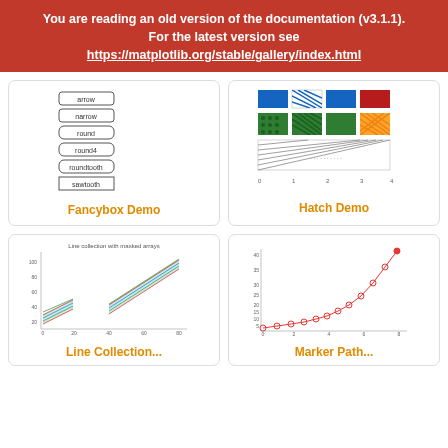You are reading an old version of the documentation (v3.1.1). For the latest version see https://matplotlib.org/stable/gallery/index.html
[Figure (screenshot): Fancybox Demo thumbnail showing various box styles: arrow, narrow, round, round4, roundtooth, sawtooth, square]
Fancybox Demo
[Figure (screenshot): Hatch Demo thumbnail showing colored hatched rectangles in blue, red, green, yellow patterns]
Hatch Demo
[Figure (line-chart): Line collection with masked arrays - diagonal colored lines forming two band shapes]
Line Collection...
[Figure (line-chart): Marker path demo - exponential-like curve with circle markers in red]
Marker Path...